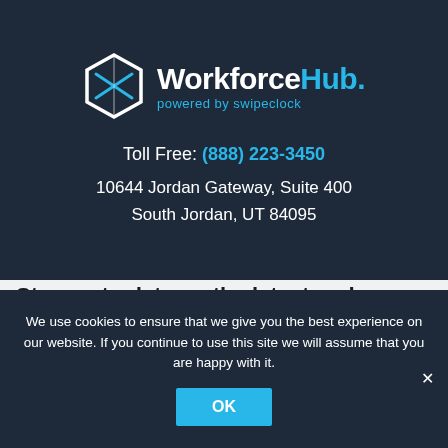[Figure (logo): WorkforceHub logo with hexagonal icon and text 'WorkforceHub. powered by swipeclock' on dark navy background]
Toll Free: (888) 223-3450
10644 Jordan Gateway, Suite 400
South Jordan, UT 84095
Stay up to date on the latest and greatest of WorkforceHub!
We use cookies to ensure that we give you the best experience on our website. If you continue to use this site we will assume that you are happy with it.